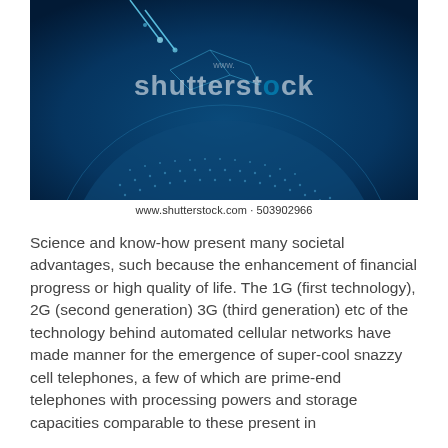[Figure (photo): A digital globe with glowing blue network connections and particles, with a Shutterstock watermark overlay reading 'shutterstock']
www.shutterstock.com · 503902966
Science and know-how present many societal advantages, such because the enhancement of financial progress or high quality of life. The 1G (first technology), 2G (second generation) 3G (third generation) etc of the technology behind automated cellular networks have made manner for the emergence of super-cool snazzy cell telephones, a few of which are prime-end telephones with processing powers and storage capacities comparable to these present in